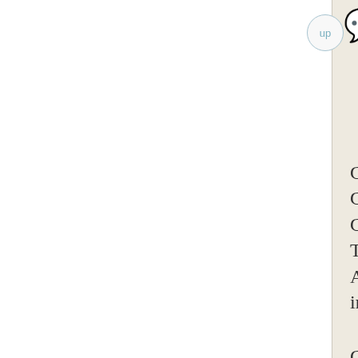Learning terms
Crash Course Chinese Chinese Phra Translation
Ai Bang Mai into the coffe
Chin Tu Fat: lift
Gun Pao Der: Chinese inve
Hu Flung Du you fertilized